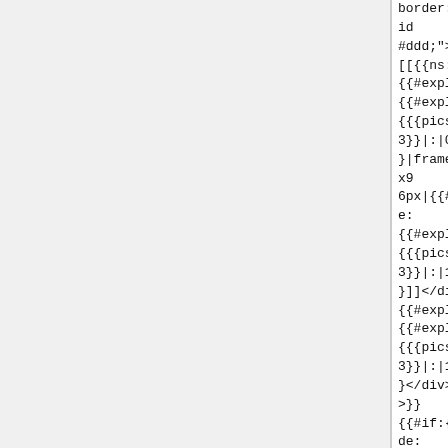border:1px solid #ddd;"> [[{{ns:file}}: {{#explode: {{#explode: {{{pics}}}|,|3}}|:|0}}|frameless|96x96px|{{#explode: {{#explode: {{{pics}}}|,|3}}|:|1}}]]</div><div> {{#explode: {{#explode: {{{pics}}}|,|3}}|:|1}}</div></div>}} {{#if:{{#explode: {{#explode: {{{pics}}}|,|4}}|:|0}}|<div style="float:left; width:98px; height:116px; margin:2px; border:1px solid
height:98px; border:1px solid #ddd;"> [[{{ns:file}}: {{#explode: {{#explode: {{{pics}}}|,|3}}|:|0}}|frameless|96x96px|{{#explode: {{#explode: {{{pics}}}|,|3}}|:|1}}]]</div><div> {{#explode: {{#explode: {{{pics}}}|,|3}}|:|1}}</div></div>}} {{#if:{{#explode: {{#explode: {{{pics}}}|,|4}}|:|0}}|<div style="float:left; width:98px; height:116px; margin:2px;